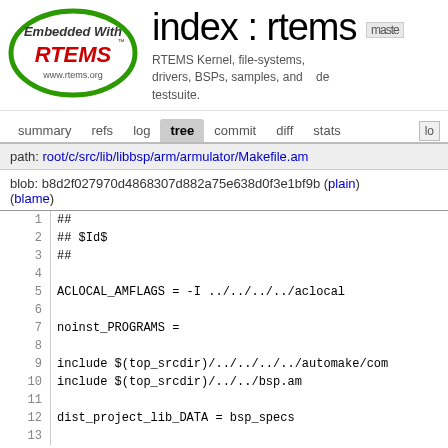[Figure (logo): RTEMS logo - oval shape with green border, text 'Embedded With RTEMS' in red/black, www.rtems.org]
index : rtems
RTEMS Kernel, file-systems, drivers, BSPs, samples, and testsuite.
summary  refs  log  tree  commit  diff  stats  lo
path: root/c/src/lib/libbsp/arm/armulator/Makefile.am
blob: b8d2f027970d4868307d882a75e638d0f3e1bf9b (plain)
(blame)
1  ##
2  ## $Id$
3  ##
4  
5  ACLOCAL_AMFLAGS = -I ../../../../aclocal
6  
7  noinst_PROGRAMS =
8  
9  include $(top_srcdir)/../../../../automake/com
10  include $(top_srcdir)/../../bsp.am
11  
12  dist_project_lib_DATA = bsp_specs
13